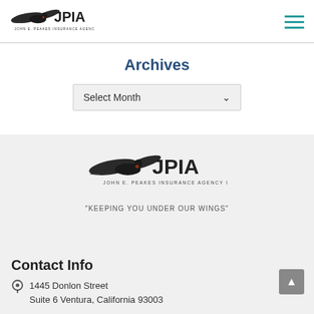[Figure (logo): JPIA - John E. Peakes Insurance Agency Inc. logo with condor bird in top-left header]
Archives
Select Month
[Figure (logo): JPIA - John E. Peakes Insurance Agency Inc. logo with condor bird in footer section]
"KEEPING YOU UNDER OUR WINGS"
Contact Info
1445 Donlon Street
Suite 6 Ventura, California 93003